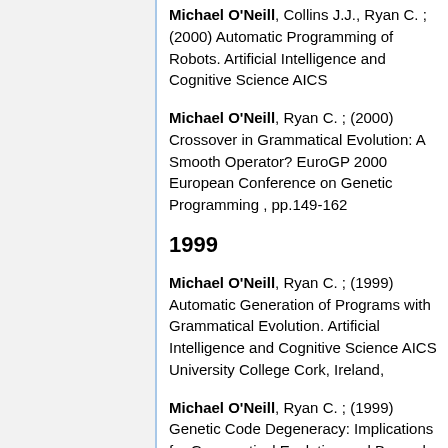Michael O'Neill, Collins J.J., Ryan C. ; (2000) Automatic Programming of Robots. Artificial Intelligence and Cognitive Science AICS
Michael O'Neill, Ryan C. ; (2000) Crossover in Grammatical Evolution: A Smooth Operator? EuroGP 2000 European Conference on Genetic Programming , pp.149-162
1999
Michael O'Neill, Ryan C. ; (1999) Automatic Generation of Programs with Grammatical Evolution. Artificial Intelligence and Cognitive Science AICS University College Cork, Ireland,
Michael O'Neill, Ryan C. ; (1999) Genetic Code Degeneracy: Implications for Grammatical Evolution and Beyond. Fifth European Conference on Artificial...